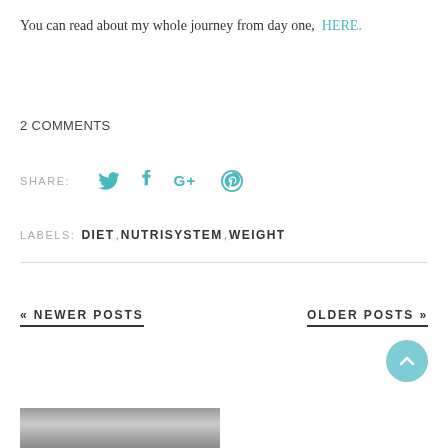You can read about my whole journey from day one, HERE.
2 COMMENTS
SHARE: [Twitter] [Facebook] [Google+] [Pinterest]
LABELS: DIET, NUTRISYSTEM, WEIGHT
« NEWER POSTS
OLDER POSTS »
[Figure (photo): Partial black and white photo at bottom of page]